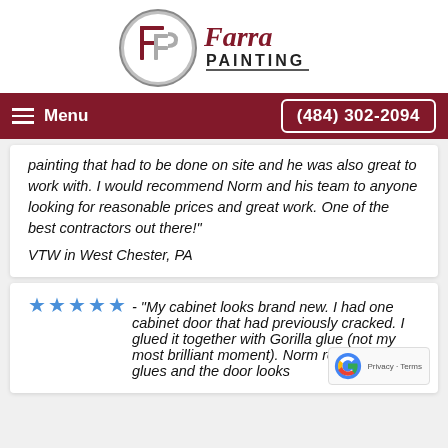[Figure (logo): Farra Painting logo with circular F/P icon and script/sans-serif text]
Menu  (484) 302-2094
painting that had to be done on site and he was also great to work with. I would recommend Norm and his team to anyone looking for reasonable prices and great work. One of the best contractors out there!"
VTW in West Chester, PA
★★★★★ - "My cabinet looks brand new. I had one cabinet door that had previously cracked. I glued it together with Gorilla glue (not my most brilliant moment). Norm removed the glues and the door looks